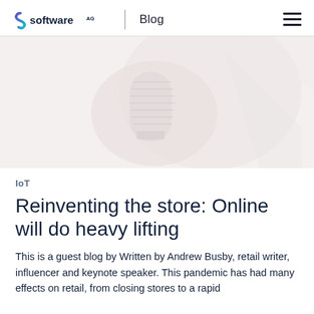Software AG | Blog
[Figure (photo): Faded background hero image showing a microphone or retail-related equipment in soft pink/white tones]
IoT
Reinventing the store: Online will do heavy lifting
This is a guest blog by Written by Andrew Busby, retail writer, influencer and keynote speaker. This pandemic has had many effects on retail, from closing stores to a rapid